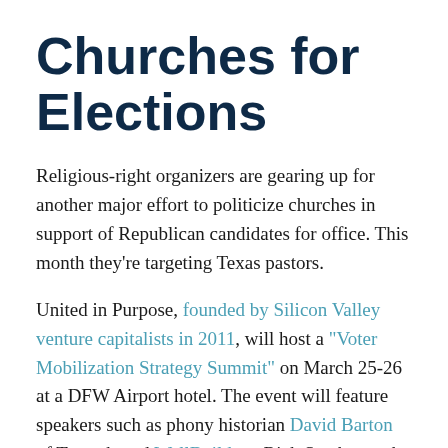Churches for Elections
Religious-right organizers are gearing up for another major effort to politicize churches in support of Republican candidates for office. This month they're targeting Texas pastors.
United in Purpose, founded by Silicon Valley venture capitalists in 2011, will host a "Voter Mobilization Strategy Summit" on March 25-26 at a DFW Airport hotel. The event will feature speakers such as phony historian David Barton of Texas-based WallBuilders, Rick Scarborough of Texas-based Vision America and right-wing fire-breather